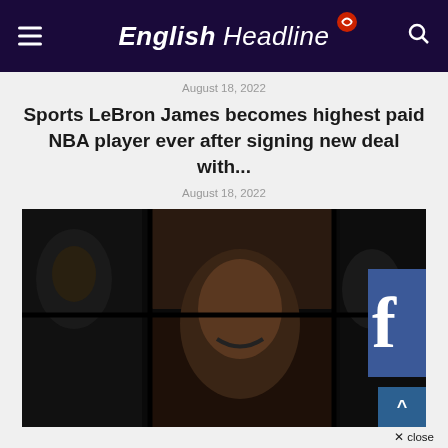English Headline
August 18, 2022
Sports LeBron James becomes highest paid NBA player ever after signing new deal with...
August 18, 2022
[Figure (photo): Dark composite photo showing multiple basketball players' faces arranged in a grid-like collage. A Facebook logo overlay appears on the right side. A scroll-to-top button is visible at the bottom right.]